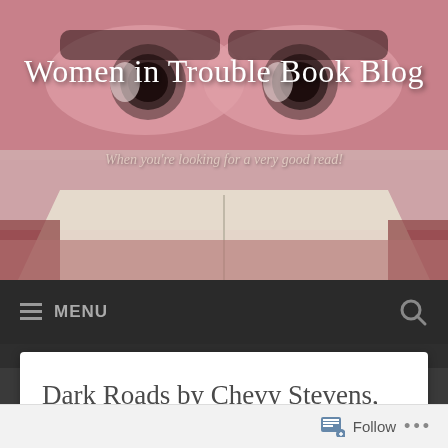Women in Trouble Book Blog
When you're looking for a very good read!
≡ MENU
Dark Roads by Chevy Stevens, 3.5 Stars
[Figure (photo): Book cover image strip showing a dark misty road or textured surface]
Follow  •••